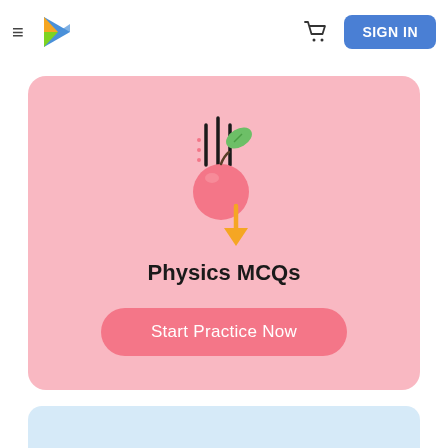[Figure (logo): Navigation bar with hamburger menu, V-shaped play logo, shopping cart icon, and SIGN IN blue button]
[Figure (illustration): Pink card with peach/apple icon with gravity/physics symbols (vertical bars and downward arrow), text Physics MCQs, and Start Practice Now button]
Physics MCQs
[Figure (other): Light blue card partially visible at bottom of page]